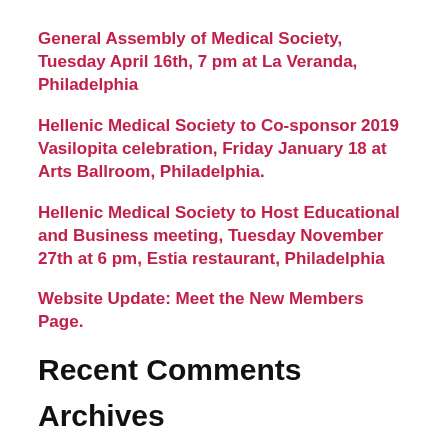General Assembly of Medical Society, Tuesday April 16th, 7 pm at La Veranda, Philadelphia
Hellenic Medical Society to Co-sponsor 2019 Vasilopita celebration, Friday January 18 at Arts Ballroom, Philadelphia.
Hellenic Medical Society to Host Educational and Business meeting, Tuesday November 27th at 6 pm, Estia restaurant, Philadelphia
Website Update: Meet the New Members Page.
Recent Comments
Archives